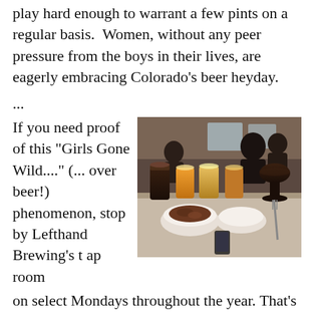play hard enough to warrant a few pints on a regular basis. Women, without any peer pressure from the boys in their lives, are eagerly embracing Colorado's beer heyday.
...
If you need proof of this “Girls Gone Wild....” (... over beer!) phenomenon, stop by Lefthand Brewing’s tap room on select Mondays throughout the year. That’s when the Ales4Females gals meet up to discuss beer and food pairings, listen to a guest speaker from within the industry, and hang with like-minded women. Learning opportunities
[Figure (photo): Photo of women at a brewery taproom table with multiple beer glasses and bowls of food in the foreground, people socializing in the background.]